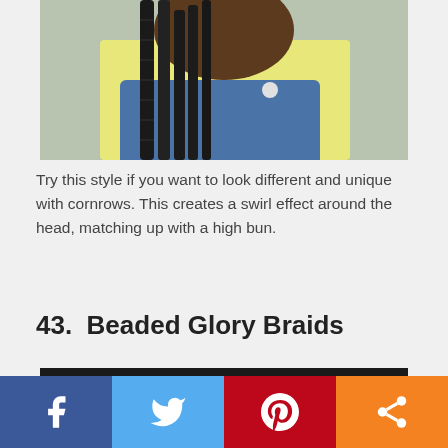[Figure (photo): A child with long black box braids wearing a yellow shirt and blue denim overalls, photographed from mid-torso up.]
Try this style if you want to look different and unique with cornrows. This creates a swirl effect around the head, matching up with a high bun.
43.  Beaded Glory Braids
[Figure (photo): Close-up photo of black beaded glory braids hairstyle against a dark background.]
[Figure (other): Social media sharing bar with Facebook, Twitter, Pinterest, and share buttons.]